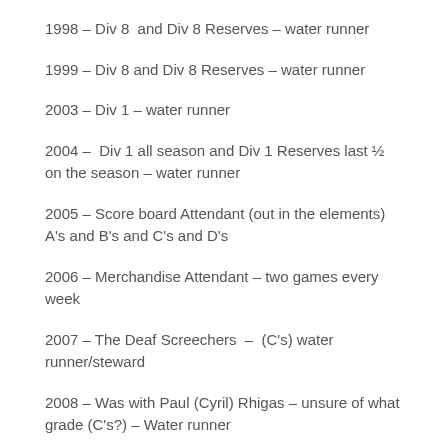1998 – Div 8  and Div 8 Reserves – water runner
1999 – Div 8 and Div 8 Reserves – water runner
2003 – Div 1 – water runner
2004 –  Div 1 all season and Div 1 Reserves last ½ on the season – water runner
2005 – Score board Attendant (out in the elements) A's and B's and C's and D's
2006 – Merchandise Attendant – two games every week
2007 – The Deaf Screechers  –  (C's) water runner/steward
2008 – Was with Paul (Cyril) Rhigas – unsure of what grade (C's?) – Water runner
2009 – Merchandise Attendant